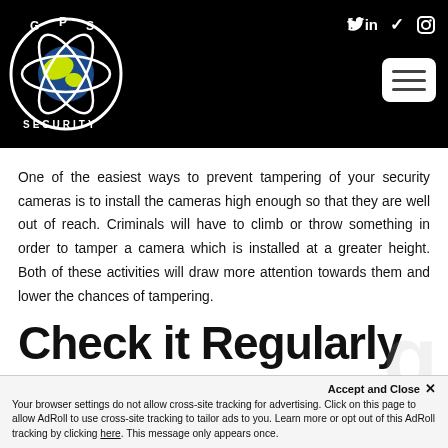[Figure (logo): GPS Security logo — white circle with globe and orbital rings, text 'G P S' at top and 'SECURITY' at bottom, on black background]
Social icons: f  in  (twitter)  (instagram) and hamburger menu button
One of the easiest ways to prevent tampering of your security cameras is to install the cameras high enough so that they are well out of reach. Criminals will have to climb or throw something in order to tamper a camera which is installed at a greater height. Both of these activities will draw more attention towards them and lower the chances of tampering.
Check it Regularly
Accept and Close ✕
Your browser settings do not allow cross-site tracking for advertising. Click on this page to allow AdRoll to use cross-site tracking to tailor ads to you. Learn more or opt out of this AdRoll tracking by clicking here. This message only appears once.